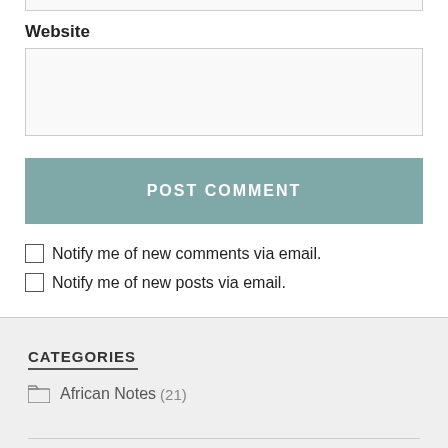Website
[Figure (screenshot): Website text input field (empty, light gray background)]
POST COMMENT
Notify me of new comments via email.
Notify me of new posts via email.
CATEGORIES
African Notes (21)